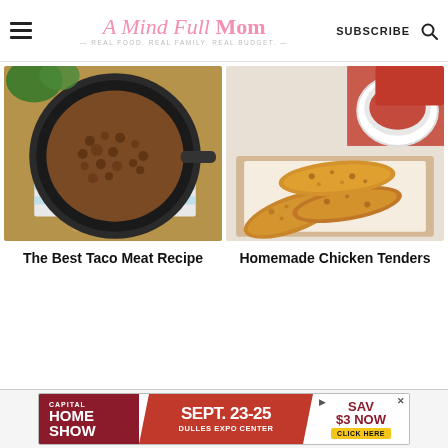A Mind Full Mom — REAL FOOD. REAL FAMILY. REAL BUDGET. | SUBSCRIBE
[Figure (photo): Overhead view of seasoned taco meat in a dark skillet pan on a striped towel with wooden utensils]
[Figure (photo): Homemade chicken tenders piled on parchment paper on a wooden board with a bowl of dipping sauce]
The Best Taco Meat Recipe
Homemade Chicken Tenders
[Figure (infographic): Advertisement: Capital Home Show, Sept. 23-25, Dulles Expo Center, Save $3 Now, Click Here]